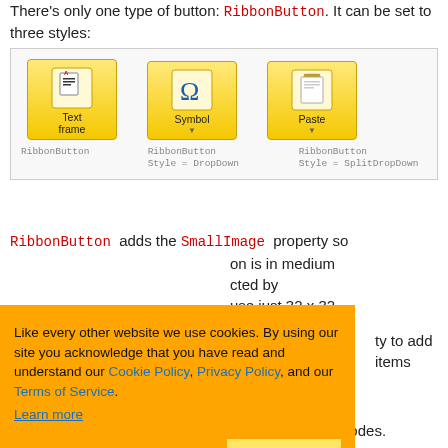There's only one type of button: RibbonButton. It can be set to three styles:
[Figure (screenshot): Screenshot showing three RibbonButton styles: default (Text frame), DropDown (Symbol), and SplitDropDown (Paste), with labels RibbonButton, RibbonButton Style = DropDown, RibbonButton Style = SplitDropDown]
RibbonButton adds the SmallImage property so ... on is in medium ... cted by ... use just 32 x 32 ... or SmallImage ... sizes are
[Figure (screenshot): Cookie consent banner with orange background. Text: 'Like every other website we use cookies. By using our site you acknowledge that you have read and understand our Cookie Policy, Privacy Policy, and our Terms of Service. Learn more'. Buttons: 'Ask me later', 'Decline', 'Allow cookies']
The appearance of the buttons vary through size modes.